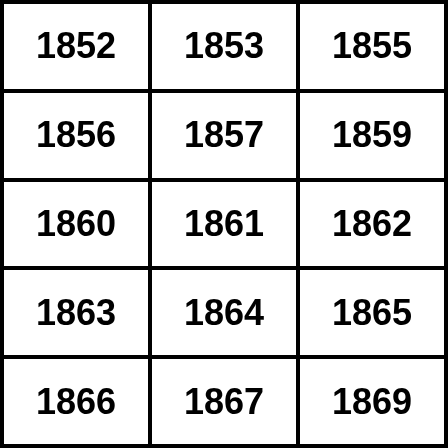| 1852 | 1853 | 1855 |
| 1856 | 1857 | 1859 |
| 1860 | 1861 | 1862 |
| 1863 | 1864 | 1865 |
| 1866 | 1867 | 1869 |